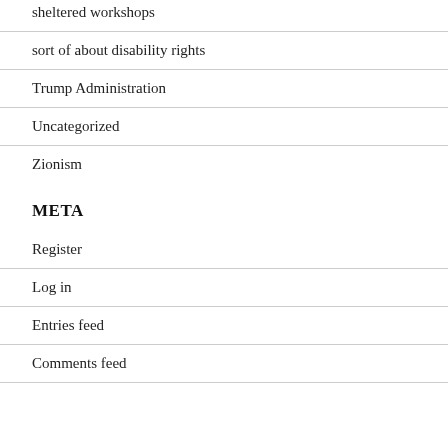sheltered workshops
sort of about disability rights
Trump Administration
Uncategorized
Zionism
META
Register
Log in
Entries feed
Comments feed